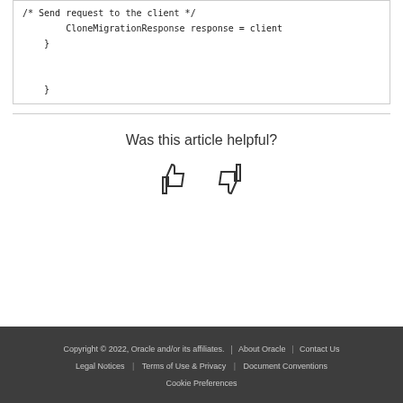/* Send request to the client */
        CloneMigrationResponse response = client
    }
}
Was this article helpful?
[Figure (illustration): Thumbs up and thumbs down icons for article feedback]
Copyright © 2022, Oracle and/or its affiliates. | About Oracle | Contact Us | Legal Notices | Terms of Use & Privacy | Document Conventions | Cookie Preferences